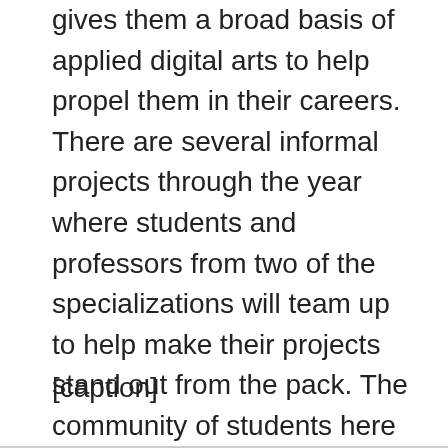gives them a broad basis of applied digital arts to help propel them in their careers. There are several informal projects through the year where students and professors from two of the specializations will team up to help make their projects stand out from the pack. The community of students here is great. They are close knit, even working on independent group projects through the summer breaks. The faculty are passionate about their respective specialization and are always pushing students to do more.
[caption]